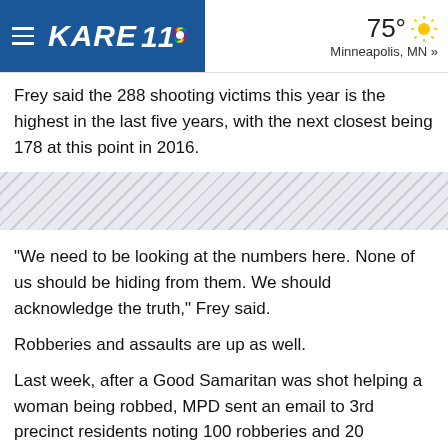KARE 11 | 75° Minneapolis, MN »
Frey said the 288 shooting victims this year is the highest in the last five years, with the next closest being 178 at this point in 2016.
"We need to be looking at the numbers here. None of us should be hiding from them. We should acknowledge the truth," Frey said.
Robberies and assaults are up as well.
Last week, after a Good Samaritan was shot helping a woman being robbed, MPD sent an email to 3rd precinct residents noting 100 robberies and 20 carjackings in the 3rd precinct in July alone.